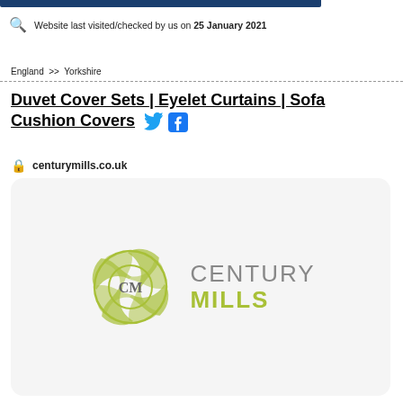Website last visited/checked by us on 25 January 2021
England >> Yorkshire
Duvet Cover Sets | Eyelet Curtains | Sofa Cushion Covers
centurymills.co.uk
[Figure (logo): Century Mills logo with circular CM emblem in olive/yellow-green and grey text reading CENTURY MILLS]